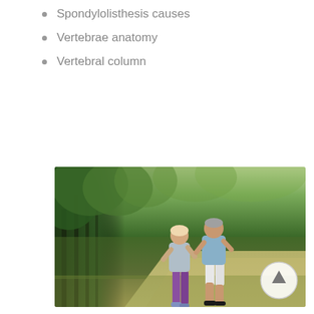Spondylolisthesis causes
Vertebrae anatomy
Vertebral column
[Figure (photo): Two middle-aged people jogging on a tree-lined park path. A woman in a gray top and pink/purple leggings and a man in a blue shirt and white shorts are running together outdoors.]